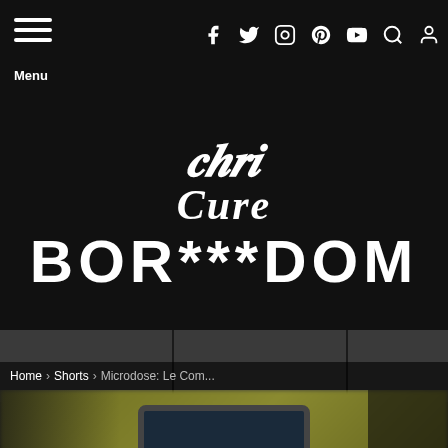Menu | Social icons: Facebook, Twitter, Instagram, Pinterest, YouTube, Search, Account
[Figure (logo): Cure Bor***dom website logo — script text above, bold block text BOR***DOM below, white on black background]
[Figure (photo): Thumbnail card 1 - dark gray placeholder]
THE NEXT LOST EPISODE!! DCCX D2 – S04/09 – #THECXOFF
[Figure (photo): Thumbnail card 2 - dark gray placeholder]
THE LOST EPISODE!! DCCX D1 – S04/08 – #THECXOFF
[Figure (photo): Thumbnail card 3 - dark gray placeholder, partially visible]
IT'S BORED... INTO BORED... MERCH
Home › Shorts › Microdose: Le Com...
[Figure (photo): Bottom section showing a framed TV/screen with Edgar Allan Poe text, yellowish background, blurred, with a dark figure on the right]